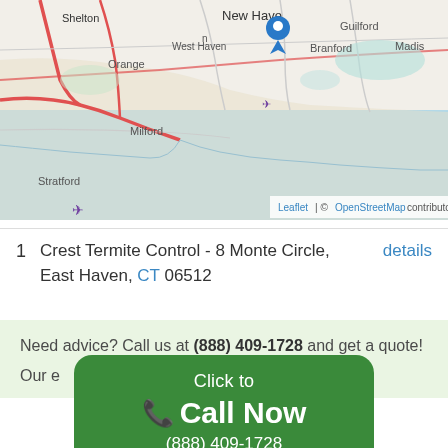[Figure (map): OpenStreetMap showing New Haven CT area coastline with location pin on New Haven, showing cities: Shelton, Orange, West Haven, Milford, Stratford, New Haven, Branford, Guilford, Madison. Two airplane icons visible. Blue location pin on New Haven.]
1   Crest Termite Control - 8 Monte Circle, East Haven, CT 06512   details
Need advice? Call us at (888) 409-1728 and get a quote!
Our e... control
Click to
☎ Call Now
(888) 409-1728